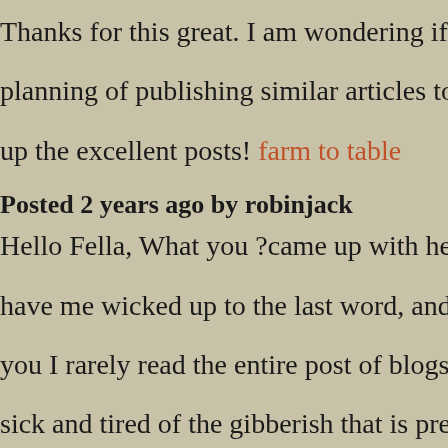Thanks for this great. I am wondering if you planning of publishing similar articles to this up the excellent posts! farm to table
Posted 2 years ago by robinjack
Hello Fella, What you ?came up with here ab have me wicked up to the last word, and I wa you I rarely read the entire post of blogs as I sick and tired of the gibberish that is presente junkyard of the world wide web on a daily ba simply end up checking out the headlines ano first lines or something like that. But your he the first few rows were exceptional and it rig forced me to stay. So, I just wanna say: nice